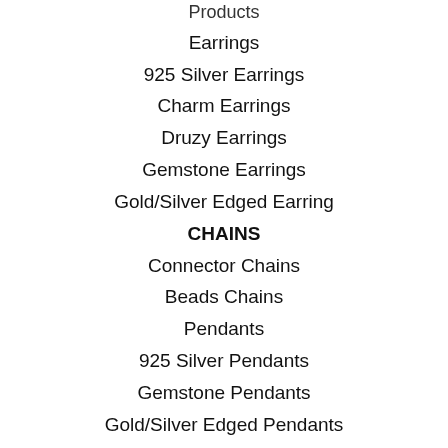Products
Earrings
925 Silver Earrings
Charm Earrings
Druzy Earrings
Gemstone Earrings
Gold/Silver Edged Earring
CHAINS
Connector Chains
Beads Chains
Pendants
925 Silver Pendants
Gemstone Pendants
Gold/Silver Edged Pendants
Rings